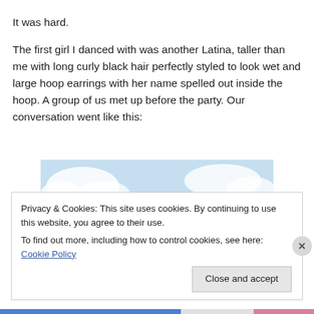It was hard.
The first girl I danced with was another Latina, taller than me with long curly black hair perfectly styled to look wet and large hoop earrings with her name spelled out inside the hoop. A group of us met up before the party. Our conversation went like this:
[Figure (photo): Photo of a person with red curly updo hair against a light blue sky with white clouds background. Only the top of the head and hair are visible.]
Privacy & Cookies: This site uses cookies. By continuing to use this website, you agree to their use.
To find out more, including how to control cookies, see here: Cookie Policy
Close and accept